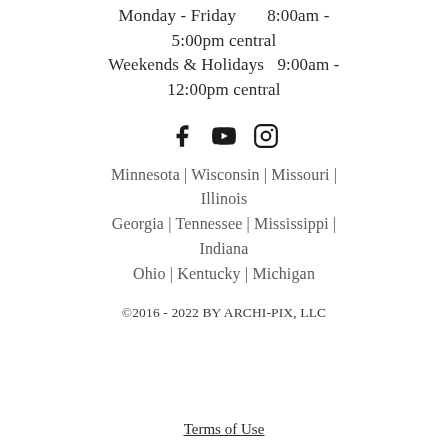Monday - Friday        8:00am - 5:00pm central
Weekends & Holidays  9:00am - 12:00pm central
[Figure (other): Social media icons: Facebook, YouTube, Instagram]
Minnesota | Wisconsin | Missouri | Illinois
Georgia | Tennessee | Mississippi | Indiana
Ohio | Kentucky | Michigan
©2016 - 2022 BY ARCHI-PIX, LLC
Terms of Use